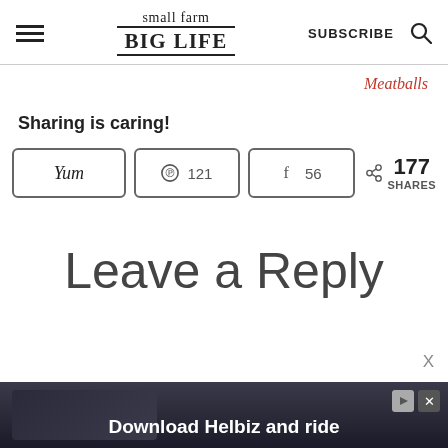small farm BIG LIFE | SUBSCRIBE
Meatballs
Sharing is caring!
[Figure (screenshot): Share buttons row: Yum button, Pinterest button showing 121, Facebook button showing 56, and total share count showing 177 SHARES]
Leave a Reply
[Figure (photo): Advertisement banner: Download Helbiz and ride, showing scooter handlebars]